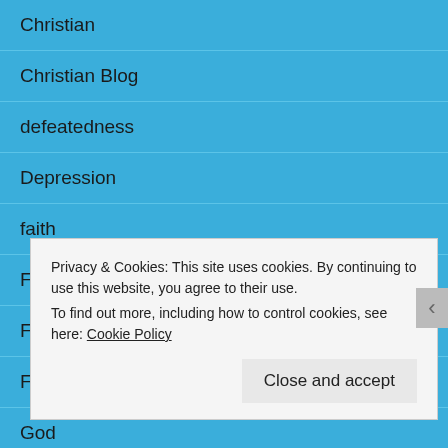Christian
Christian Blog
defeatedness
Depression
faith
Fear
Feeling Alone
Forgiveness
God
Privacy & Cookies: This site uses cookies. By continuing to use this website, you agree to their use.
To find out more, including how to control cookies, see here: Cookie Policy
Close and accept